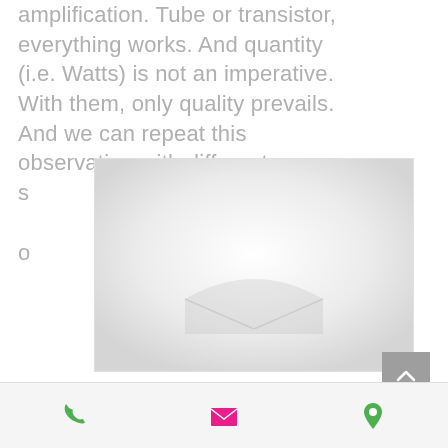amplification. Tube or transistor, everything works. And quantity (i.e. Watts) is not an imperative. With them, only quality prevails. And we can repeat this observation with different s c
[Figure (photo): A blurred/faded white rectangular image area, possibly showing a bag or envelope shape in the lower center, rendered in very light grey tones.]
[Figure (infographic): Footer bar with three icons: a green phone icon, a pink/magenta envelope icon, and a green map pin/location icon.]